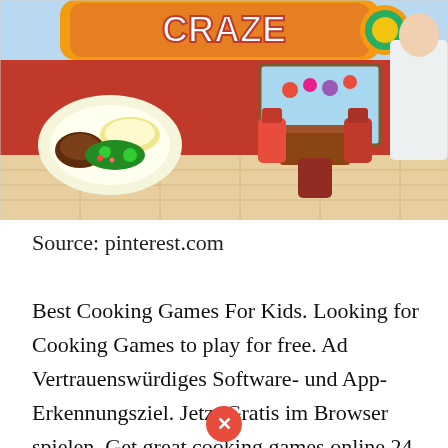[Figure (screenshot): Screenshot of a cooking game app called 'Cooking Craze' showing a restaurant scene with food plates, tables, chairs, and a colorful orange/red game logo at the top.]
Source: pinterest.com
Best Cooking Games For Kids. Looking for Cooking Games to play for free. Ad Vertrauenswürdiges Software- und App-Erkennungsziel. Jetzt Gratis im Browser spielen. Get great cooking games online 24 hours a day and enjoy your favourite cooking...